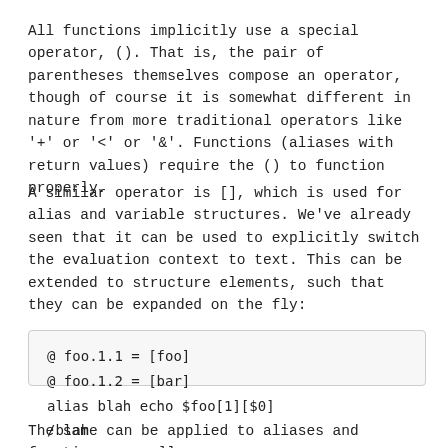All functions implicitly use a special operator, (). That is, the pair of parentheses themselves compose an operator, though of course it is somewhat different in nature from more traditional operators like '+' or '<' or '&'. Functions (aliases with return values) require the () to function properly.
A similar operator is [], which is used for alias and variable structures. We've already seen that it can be used to explicitly switch the evaluation context to text. This can be extended to structure elements, such that they can be expanded on the fly:
@ foo.1.1 = [foo]
@ foo.1.2 = [bar]
alias blah echo $foo[1][$0]
/blah 2                                    /* (
The same can be applied to aliases and functions as well.